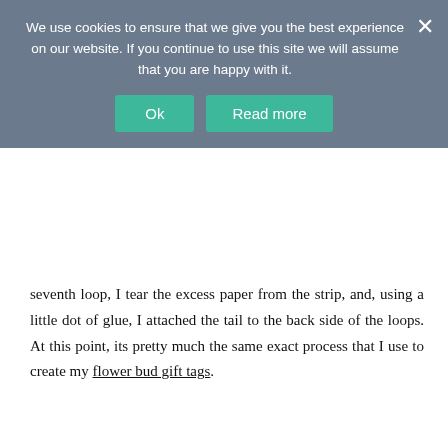We use cookies to ensure that we give you the best experience on our website. If you continue to use this site we will assume that you are happy with it.
Ok | Read more
seventh loop, I tear the excess paper from the strip, and, using a little dot of glue, I attached the tail to the back side of the loops. At this point, its pretty much the same exact process that I use to create my flower bud gift tags.
[Figure (photo): Two photos side by side showing hands working with a quilting or weaving tool with metal tines, creating loops with paper strips on a striped background]
[Figure (photo): Right photo: A hand holding a white-handled quilling or looping tool with metal tines, with small green paper loops visible on the tines, on a cork board background]